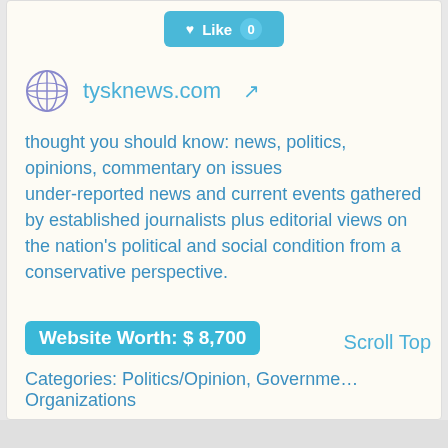[Figure (other): Like button with heart icon and count of 0, teal/cyan colored button]
tysknews.com
thought you should know: news, politics, opinions, commentary on issues
under-reported news and current events gathered by established journalists plus editorial views on the nation's political and social condition from a conservative perspective.
Website Worth: $ 8,700
Scroll Top
Categories: Politics/Opinion, Government Organizations
Is it similar?
[Figure (other): Yes button (green, thumbs up, count 0) and No button (red, thumbs down, count 0)]